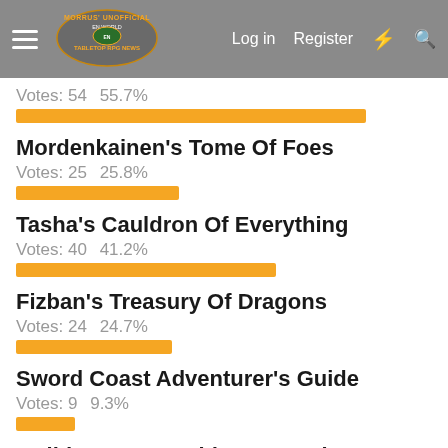Morrus' Unofficial Tabletop RPG News — Log in   Register
Votes: 54   55.7%
[Figure (bar-chart): Poll bar 55.7%]
Mordenkainen's Tome Of Foes
Votes: 25   25.8%
[Figure (bar-chart): Poll bar 25.8%]
Tasha's Cauldron Of Everything
Votes: 40   41.2%
[Figure (bar-chart): Poll bar 41.2%]
Fizban's Treasury Of Dragons
Votes: 24   24.7%
[Figure (bar-chart): Poll bar 24.7%]
Sword Coast Adventurer's Guide
Votes: 9   9.3%
[Figure (bar-chart): Poll bar 9.3%]
Guildmaster's Guide To Ravnica
Votes: 5   5.2%